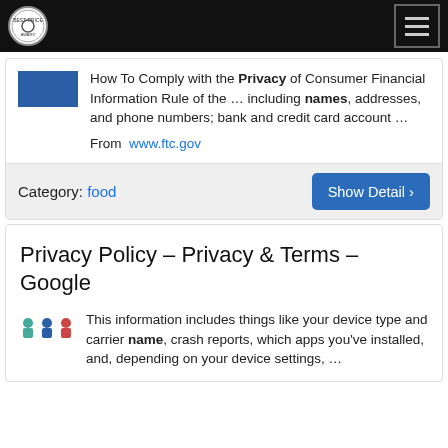Navigation bar with logo and hamburger menu
How To Comply with the Privacy of Consumer Financial Information Rule of the ... including names, addresses, and phone numbers; bank and credit card account ...
From www.ftc.gov
Category: food
Show Detail ›
Privacy Policy – Privacy & Terms – Google
This information includes things like your device type and carrier name, crash reports, which apps you've installed, and, depending on your device settings, ...